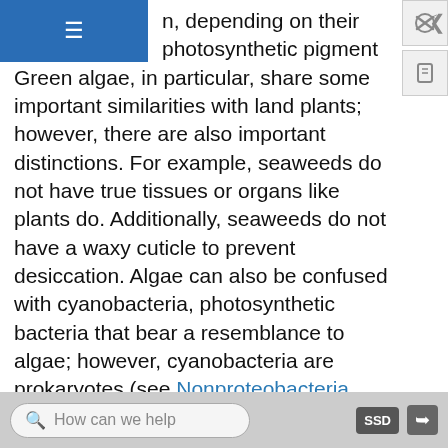n, depending on their photosynthetic pigment. Green algae, in particular, share some important similarities with land plants; however, there are also important distinctions. For example, seaweeds do not have true tissues or organs like plants do. Additionally, seaweeds do not have a waxy cuticle to prevent desiccation. Algae can also be confused with cyanobacteria, photosynthetic bacteria that bear a resemblance to algae; however, cyanobacteria are prokaryotes (see Nonproteobacteria Gram-negative Bacteria and Phototrophic Bacteria).
Algae have a variety of life cycles. Reproduction may be asexual by mitosis or sexual using gametes.
Algal Diversity